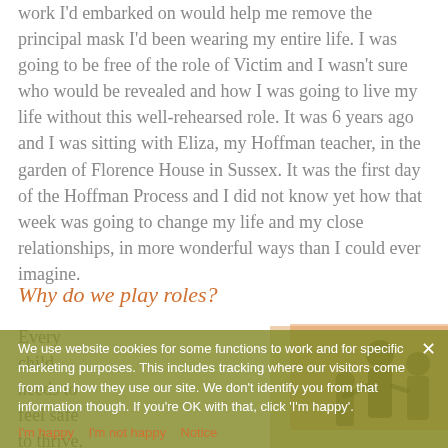work I'd embarked on would help me remove the principal mask I'd been wearing my entire life. I was going to be free of the role of Victim and I wasn't sure who would be revealed and how I was going to live my life without this well-rehearsed role. It was 6 years ago and I was sitting with Eliza, my Hoffman teacher, in the garden of Florence House in Sussex. It was the first day of the Hoffman Process and I did not know yet how that week was going to change my life and my close relationships, in more wonderful ways than I could ever imagine.
Why do we play roles?
Every child needs to feel safe to thrive. As a child,
[Figure (illustration): Peach/orange tinted box with silhouette figures of adults and child in warm tones on olive/yellow-green background]
We use website cookies for some functions to work and for specific marketing purposes. This includes tracking where our visitors come from and how they use our site. We don't identify you from that information though. If you're OK with that, click 'I'm happy'.
I'm happy   |   I'm not happy   |   Notice